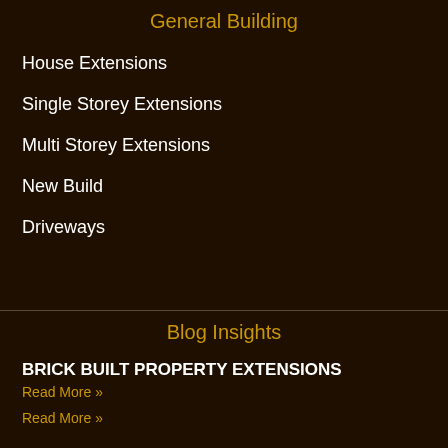General Building
House Extensions
Single Storey Extensions
Multi Storey Extensions
New Build
Driveways
Blog Insights
BRICK BUILT PROPERTY EXTENSIONS
Read More »
Read More »